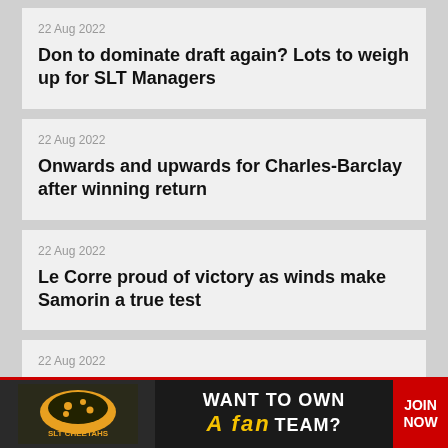22 Aug 2022
Don to dominate draft again? Lots to weigh up for SLT Managers
22 Aug 2022
Onwards and upwards for Charles-Barclay after winning return
22 Aug 2022
Le Corre proud of victory as winds make Samorin a true test
22 Aug 2022
Col... got...
[Figure (advertisement): SLT Cheetahs advertisement: 'WANT TO OWN A FAN TEAM? JOIN NOW']